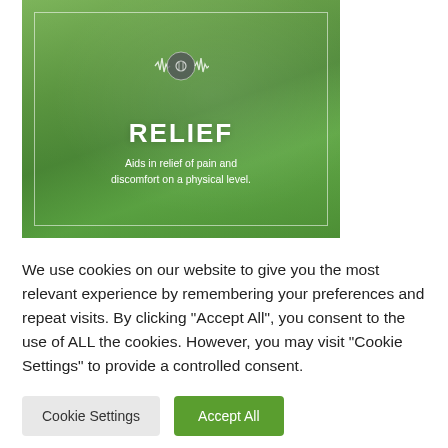[Figure (illustration): Green jungle/forest background image with a circular audio waveform icon in the center top. White text reading 'RELIEF' in bold, with subtitle 'Aids in relief of pain and discomfort on a physical level.' overlaid on the image.]
We use cookies on our website to give you the most relevant experience by remembering your preferences and repeat visits. By clicking "Accept All", you consent to the use of ALL the cookies. However, you may visit "Cookie Settings" to provide a controlled consent.